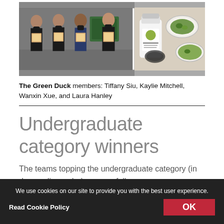[Figure (photo): Two side-by-side photos. Left: four young women wearing black face masks holding certificates in an indoor setting. Right: green plant matter, a white supplement container, and small glass dishes with green contents.]
The Green Duck members: Tiffany Siu, Kaylie Mitchell, Wanxin Xue, and Laura Hanley
Undergraduate category winners
The teams topping the undergraduate category (in descending order) were as follows: